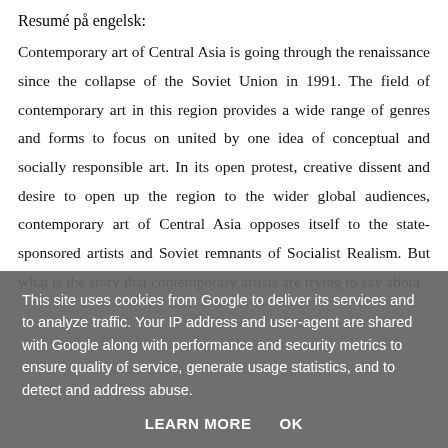Resumé på engelsk:
Contemporary art of Central Asia is going through the renaissance since the collapse of the Soviet Union in 1991. The field of contemporary art in this region provides a wide range of genres and forms to focus on united by one idea of conceptual and socially responsible art. In its open protest, creative dissent and desire to open up the region to the wider global audiences, contemporary art of Central Asia opposes itself to the state-sponsored artists and Soviet remnants of Socialist Realism. But what is the story that contemporary artists are trying to say about
This site uses cookies from Google to deliver its services and to analyze traffic. Your IP address and user-agent are shared with Google along with performance and security metrics to ensure quality of service, generate usage statistics, and to detect and address abuse.
LEARN MORE   OK